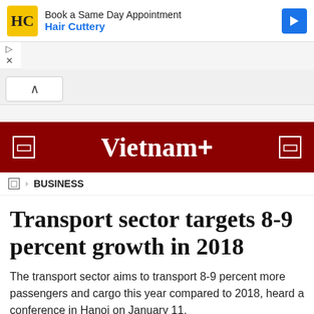[Figure (screenshot): Advertisement banner for Hair Cuttery with yellow logo, text 'Book a Same Day Appointment' and 'Hair Cuttery', and blue arrow icon on right]
Vietnam+
⌂ › BUSINESS
Transport sector targets 8-9 percent growth in 2018
The transport sector aims to transport 8-9 percent more passengers and cargo this year compared to 2018, heard a conference in Hanoi on January 11.
VNA - Friday, January 11, 2019 14:00